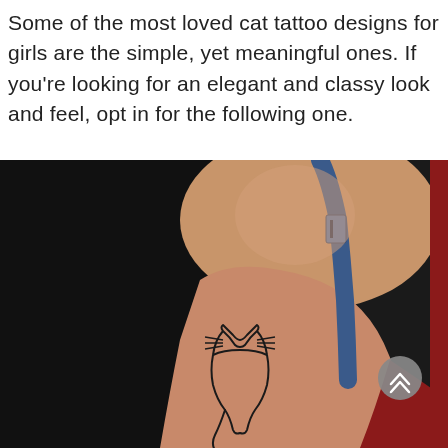Some of the most loved cat tattoo designs for girls are the simple, yet meaningful ones. If you're looking for an elegant and classy look and feel, opt in for the following one.
[Figure (photo): A photo of a woman's upper arm and shoulder area showing a simple black outline cat silhouette tattoo on the inner arm. The woman is wearing a red top with a blue bra strap visible. The background is dark/black. A grey circular scroll-up button with chevron icon is visible in the lower right of the image.]